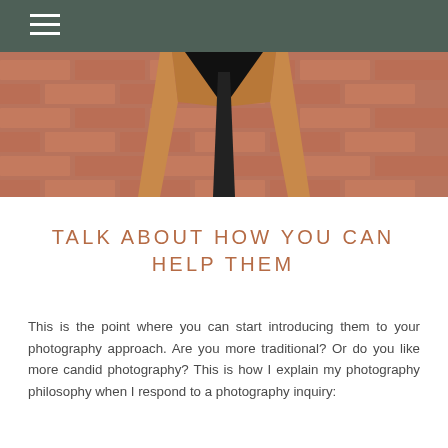[Figure (photo): Partial photo of a person wearing a tan/camel colored coat in front of a brick wall, cropped to show torso only with a dark top underneath.]
TALK ABOUT HOW YOU CAN HELP THEM
This is the point where you can start introducing them to your photography approach. Are you more traditional? Or do you like more candid photography? This is how I explain my photography philosophy when I respond to a photography inquiry: